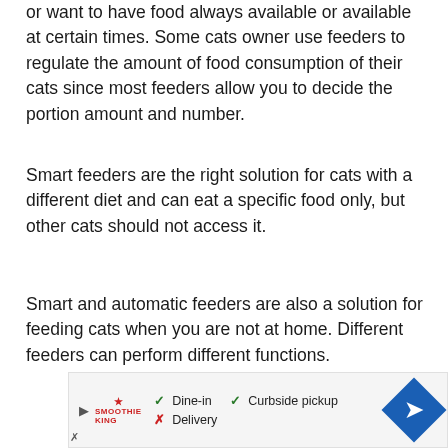or want to have food always available or available at certain times. Some cats owner use feeders to regulate the amount of food consumption of their cats since most feeders allow you to decide the portion amount and number.
Smart feeders are the right solution for cats with a different diet and can eat a specific food only, but other cats should not access it.
Smart and automatic feeders are also a solution for feeding cats when you are not at home. Different feeders can perform different functions.
[Figure (other): Advertisement banner for Smoothie King restaurant showing dine-in and curbside pickup availability, with a navigation arrow icon.]